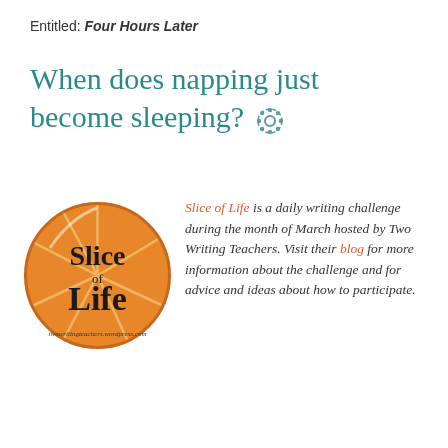Entitled: Four Hours Later
When does napping just become sleeping? ⚙
[Figure (logo): Slice of Life circular logo with orange background and text 'Slice of Life']
Slice of Life is a daily writing challenge during the month of March hosted by Two Writing Teachers. Visit their blog for more information about the challenge and for advice and ideas about how to participate.